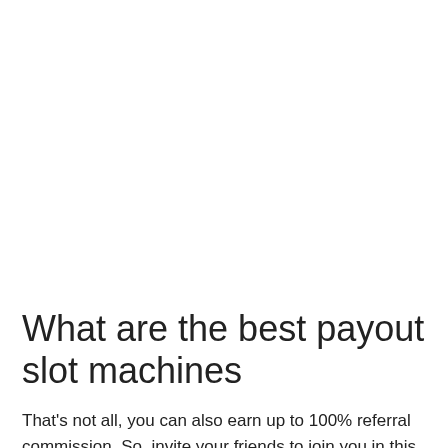What are the best payout slot machines
That's not all, you can also earn up to 100% referral commission. So, invite your friends to join you in this bitcoin faucet,